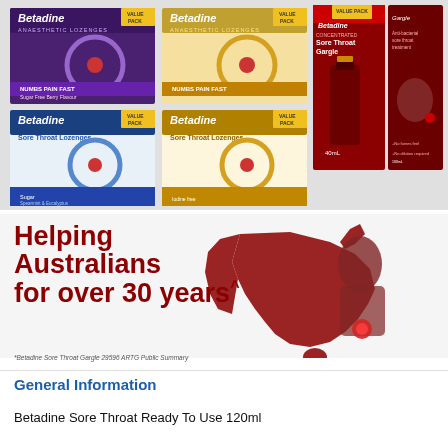[Figure (photo): Collection of Betadine product boxes including Anaesthetic Lozenges (berry and original flavours, value packs), Sore Throat Lozenges (value packs), Concentrated Sore Throat Gargle 40mL bottle, and Sore Throat Gargle 100mL box with anti-bacterial sore throat treatment description.]
[Figure (illustration): Promotional banner with bold dark red text reading 'Helping Australians for over 30 years^' with a stylised red Australia map silhouette and head/throat illustration on the right side.]
*Betadine Sore Throat Gargle 29596 ARTG Public Summary
General Information
Betadine Sore Throat Ready To Use 120ml